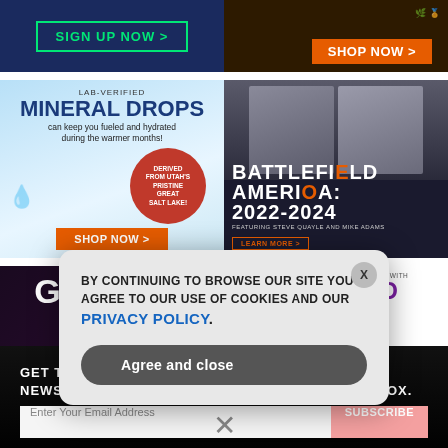[Figure (illustration): Sign Up Now button on dark blue background ad banner]
[Figure (illustration): Shop Now button on dark product ad banner with organic badges]
[Figure (illustration): Lab-Verified Mineral Drops advertisement with blue water background, product bottle, and Shop Now button]
[Figure (illustration): Battlefield America 2022-2024 featuring Steve Quayle and Mike Adams advertisement with two men's faces on dark background]
[Figure (illustration): BrighteonStore.com GLOBAL advertisement on dark purple background]
[Figure (illustration): Optimize Your Overall Health With NON-GMO advertisement on white background]
GET THE WORLD'S MOST INDEPENDENT MEDIA NEWSLETTER DELIVERED STRAIGHT TO YOUR INBOX.
Enter Your Email Address
SUBSCRIBE
BY CONTINUING TO BROWSE OUR SITE YOU AGREE TO OUR USE OF COOKIES AND OUR PRIVACY POLICY.
Agree and close